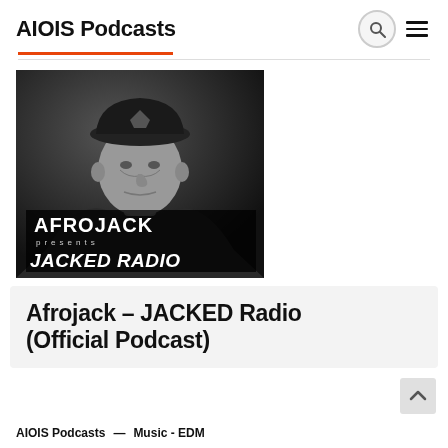AIOIS Podcasts
[Figure (photo): Black and white photo of Afrojack (DJ) wearing a cap, with the text overlay 'AFROJACK presents JACKED RADIO' at the bottom of the image.]
Afrojack – JACKED Radio (Official Podcast)
AIOIS Podcasts — Music - EDM